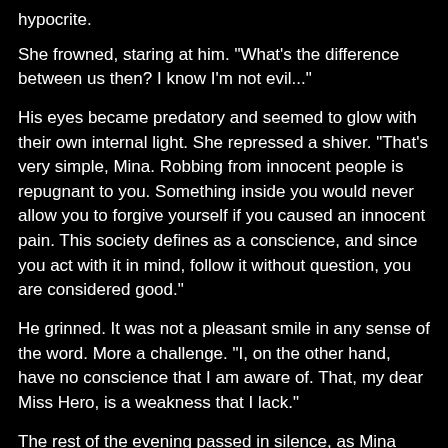hypocrite.
She frowned, staring at him. "What's the difference between us then? I know I'm not evil..."
His eyes became predatory and seemed to glow with their own internal light. She repressed a shiver. "That's very simple, Mina. Robbing from innocent people is repugnant to you. Something inside you would never allow you to forgive yourself if you caused an innocent pain. This society defines as a conscience, and since you act with it in mind, follow it without question, you are considered good."
He grinned. It was not a pleasant smile in any sense of the word. More a challenge. "I, on the other hand, have no conscience that I am aware of. That, my dear Miss Hero, is a weakness that I lack."
The rest of the evening passed in silence, as Mina struggled to come to terms with what he'd said. She'd followed in her mother and father's footsteps, and she'd always been told it was the good and noble thing to do. What the contradictory giant said could not be denied however, and Mina was in turmoil. Every child eventually reaches the conclusion that their parents are not perfect at some point in their life. Mina had realised this intellectually before — some of her parents